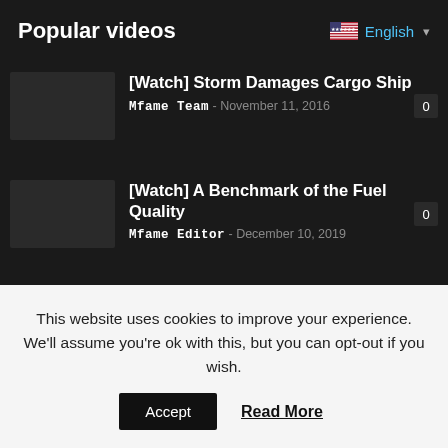Popular videos
English
[Watch] Storm Damages Cargo Ship — Mfame Team - November 11, 2016 — 0
[Watch] A Benchmark of the Fuel Quality — Mfame Editor - December 10, 2019 — 0
[Watch] Maersk Training Freefall Lifeboat Simulator — Mfame Team - January 9, 2017 — 0
This website uses cookies to improve your experience. We'll assume you're ok with this, but you can opt-out if you wish.
Accept  Read More